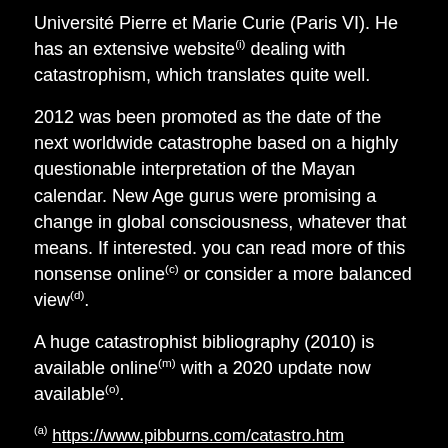Université Pierre et Marie Curie (Paris VI). He has an extensive website(i) dealing with catastrophism, which translates quite well.
2012 was been promoted as the date of the next worldwide catastrophe based on a highly questionable interpretation of the Mayan calendar. New Age gurus were promising a change in global consciousness, whatever that means. If interested. you can read more of this nonsense online(c) or consider a more balanced view(d).
A huge catastrophist bibliography (2010) is available online(m) with a 2020 update now available(o).
(a) https://www.pibburns.com/catastro.htm
(b) https://www.grahamhancock.com/forum/BlackardA1.php
(c) https://www.thecityedition.com/Pages/Archive/2009/2012_Do...
(d) https://www.skepdic.com/maya.html
(e) Ancient Destructions investigations, video, articles...